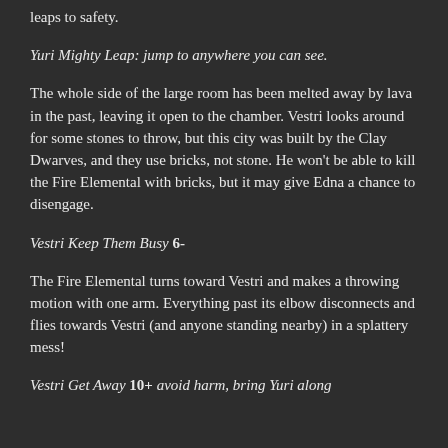leaps to safety.
Yuri Mighty Leap: jump to anywhere you can see.
The whole side of the large room has been melted away by lava in the past, leaving it open to the chamber. Vestri looks around for some stones to throw, but this city was built by the Clay Dwarves, and they use bricks, not stone. He won't be able to kill the Fire Elemental with bricks, but it may give Edna a chance to disengage.
Vestri Keep Them Busy 6-
The Fire Elemental turns toward Vestri and makes a throwing motion with one arm. Everything past its elbow disconnects and flies towards Vestri (and anyone standing nearby) in a splattery mess!
Vestri Get Away 10+ avoid harm, bring Yuri along